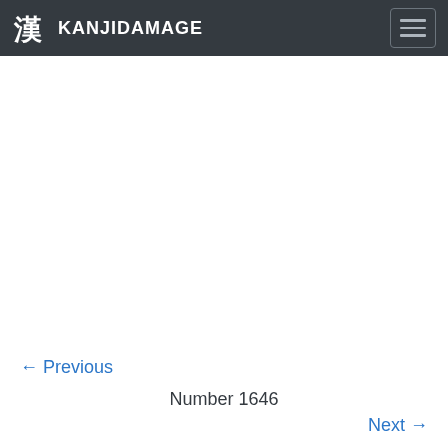KANJIDAMAGE
← Previous
Number 1646
Next →